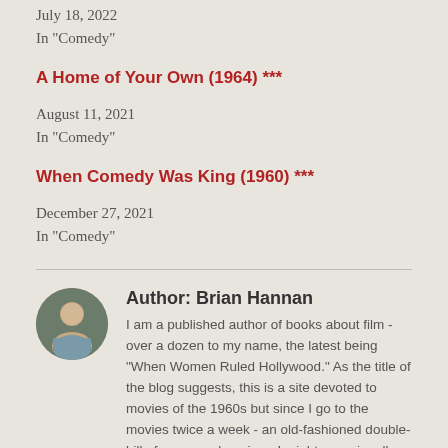July 18, 2022
In "Comedy"
A Home of Your Own (1964) ***
August 11, 2021
In "Comedy"
When Comedy Was King (1960) ***
December 27, 2021
In "Comedy"
Author: Brian Hannan
I am a published author of books about film - over a dozen to my name, the latest being "When Women Ruled Hollywood." As the title of the blog suggests, this is a site devoted to movies of the 1960s but since I go to the movies twice a week - an old-fashioned double-bill of my own choosing - I might occasionally